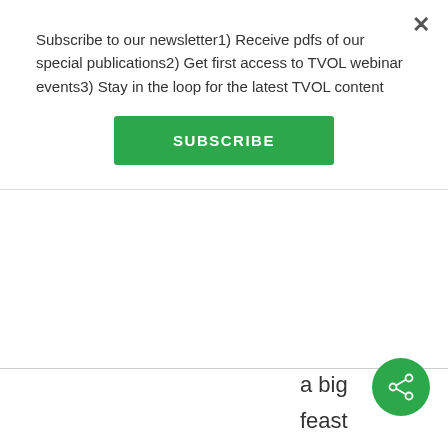Subscribe to our newsletter1) Receive pdfs of our special publications2) Get first access to TVOL webinar events3) Stay in the loop for the latest TVOL content
SUBSCRIBE
a big feast even in fall or midwinter and eating through